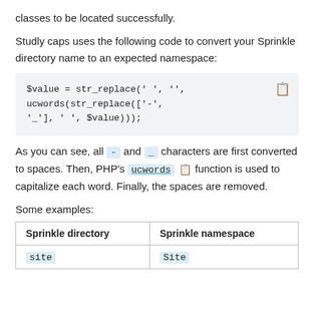classes to be located successfully.
Studly caps uses the following code to convert your Sprinkle directory name to an expected namespace:
As you can see, all - and _ characters are first converted to spaces. Then, PHP's ucwords function is used to capitalize each word. Finally, the spaces are removed.
Some examples:
| Sprinkle directory | Sprinkle namespace |
| --- | --- |
| site | Site |